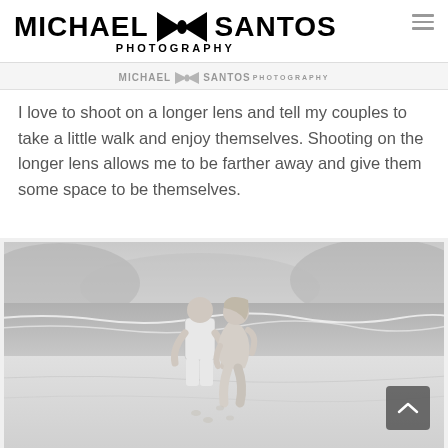[Figure (logo): Michael Santos Photography logo with bowtie graphic, large bold uppercase text]
[Figure (logo): Small repeated Michael Santos Photography logo in gray/faded style in secondary nav bar]
I love to shoot on a longer lens and tell my couples to take a little walk and enjoy themselves. Shooting on the longer lens allows me to be farther away and give them some space to be themselves.
[Figure (photo): Black and white photograph of a couple walking and laughing on a beach, man in white t-shirt and shorts, woman in light dress, ocean and hills in background]